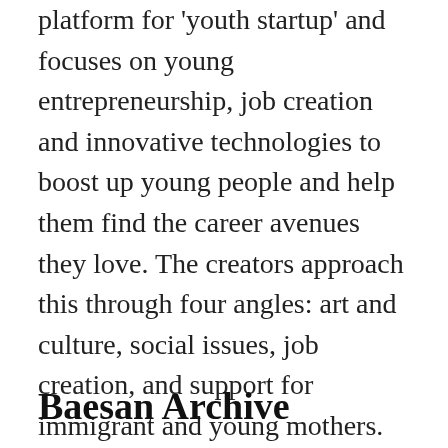platform for 'youth startup' and focuses on young entrepreneurship, job creation and innovative technologies to boost up young people and help them find the career avenues they love. The creators approach this through four angles: art and culture, social issues, job creation, and support for immigrant and young mothers. There are studios, classrooms, shops and cafes. Stop by Brinner for a coffee and lend your support to the inspirational community efforts underway here.
Baesan Archive